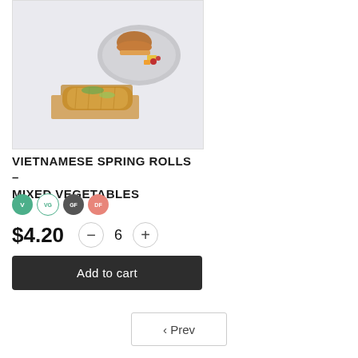[Figure (photo): Food photo showing a Vietnamese spring roll on brown paper and a burger with fruit on a grey plate, on a light grey background]
VIETNAMESE SPRING ROLLS – MIXED VEGETABLES
V VG GF DF (dietary badges)
$4.20  −  6  +
Add to cart
< Prev